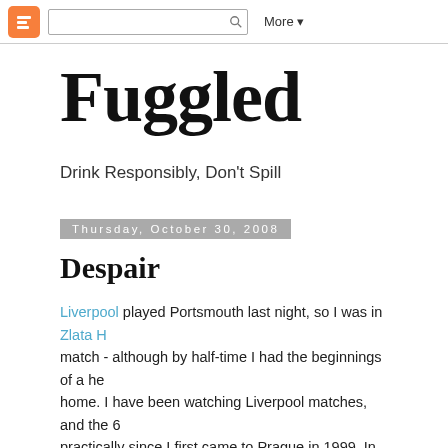Blogger toolbar with logo, search, More
Fuggled
Drink Responsibly, Don't Spill
Thursday, October 30, 2008
Despair
Liverpool played Portsmouth last night, so I was in Zlata H match - although by half-time I had the beginnings of a he home. I have been watching Liverpool matches, and the 6 practically since I first came to Prague in 1999. In that time drunk vast quantities of beer in the place, starting with Vel back in the good old days when they made a good lager, t